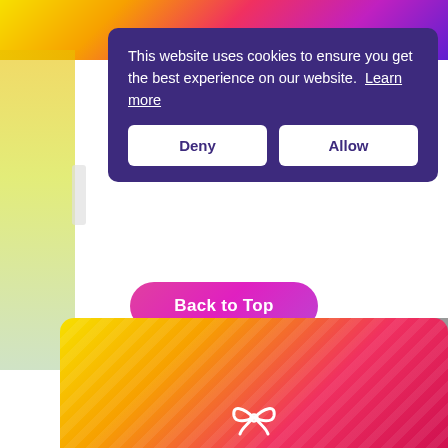[Figure (screenshot): Cookie consent dialog overlay on a webpage with colorful gradient background. Dialog has dark purple background with 'Deny' and 'Allow' buttons. Below shows product SKU info, a pink 'Back to Top' button, a gray scroll-to-top arrow button, and a gradient gift card banner at the bottom.]
This website uses cookies to ensure you get the best experience on our website. Learn more
Deny
Allow
SKU: RLG63
MPN: RLG63
Brand: Vivid Lux Glass
Back to Top